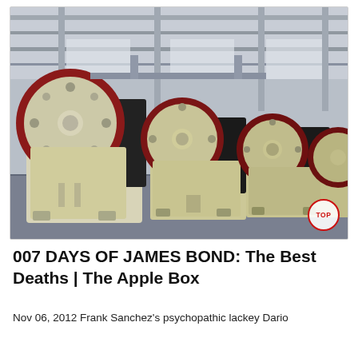[Figure (photo): Industrial photograph showing multiple large jaw crusher machines with red and black flywheels lined up in a factory/warehouse setting with a concrete floor and steel-frame roof structure.]
007 DAYS OF JAMES BOND: The Best Deaths | The Apple Box
Nov 06, 2012 Frank Sanchez's psychopathic lackey Dario